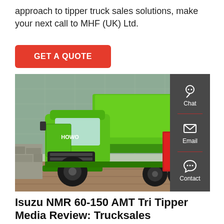approach to tipper truck sales solutions, make your next call to MHF (UK) Ltd.
GET A QUOTE
[Figure (photo): A large green HOWO tipper/dump truck parked in front of a glass building, with a red information sign beside it. A dark sidebar on the right shows Chat, Email, and Contact icons.]
Isuzu NMR 60-150 AMT Tri Tipper Media Review: Trucksales